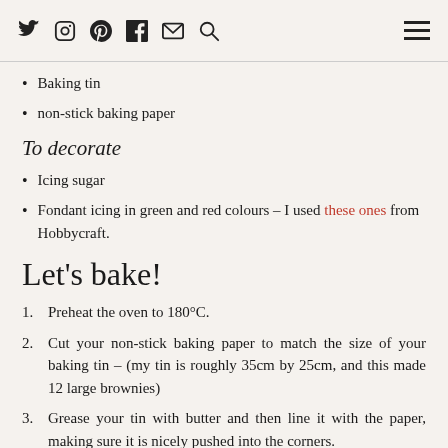Social icons: twitter, instagram, pinterest, facebook, email, search; hamburger menu
Baking tin
non-stick baking paper
To decorate
Icing sugar
Fondant icing in green and red colours – I used these ones from Hobbycraft.
Let's bake!
1. Preheat the oven to 180°C.
2. Cut your non-stick baking paper to match the size of your baking tin – (my tin is roughly 35cm by 25cm, and this made 12 large brownies)
3. Grease your tin with butter and then line it with the paper, making sure it is nicely pushed into the corners.
4. Add all your pre-weighed ingredients into a large mixing bowl, and beat everything together until you get a smooth